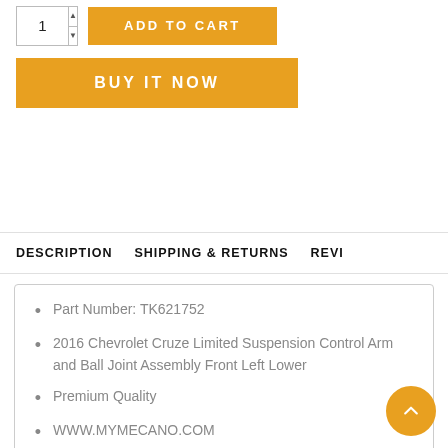ADD TO CART
BUY IT NOW
DESCRIPTION   SHIPPING & RETURNS   REVIEWS
Part Number: TK621752
2016 Chevrolet Cruze Limited Suspension Control Arm and Ball Joint Assembly Front Left Lower
Premium Quality
WWW.MYMECANO.COM